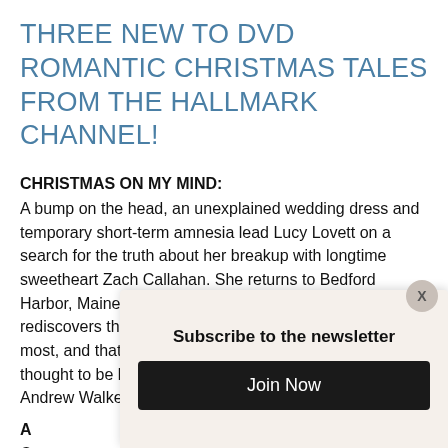THREE NEW TO DVD ROMANTIC CHRISTMAS TALES FROM THE HALLMARK CHANNEL!
CHRISTMAS ON MY MIND:
A bump on the head, an unexplained wedding dress and temporary short-term amnesia lead Lucy Lovett on a search for the truth about her breakup with longtime sweetheart Zach Callahan. She returns to Bedford Harbor, Maine for the town's Christmas celebration and rediscovers the woman she used to be, what matters most, and that a Christmas miracle can bring back love thought to be lost forever. Starring Ashley Greene, Andrew Walker and Jackée Harry.
A [partial] Co... br...
[Figure (screenshot): Newsletter subscription popup modal with title 'Subscribe to the newsletter', a 'Join Now' button, and an X close button, overlaying the bottom portion of the page.]